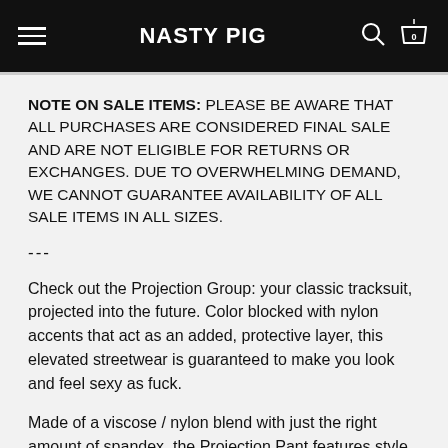NASTY PIG
NOTE ON SALE ITEMS: PLEASE BE AWARE THAT ALL PURCHASES ARE CONSIDERED FINAL SALE AND ARE NOT ELIGIBLE FOR RETURNS OR EXCHANGES. DUE TO OVERWHELMING DEMAND, WE CANNOT GUARANTEE AVAILABILITY OF ALL SALE ITEMS IN ALL SIZES.
---
Check out the Projection Group: your classic tracksuit, projected into the future. Color blocked with nylon accents that act as an added, protective layer, this elevated streetwear is guaranteed to make you look and feel sexy as fuck.
Made of a viscose / nylon blend with just the right amount of spandex, the Projection Pant features style